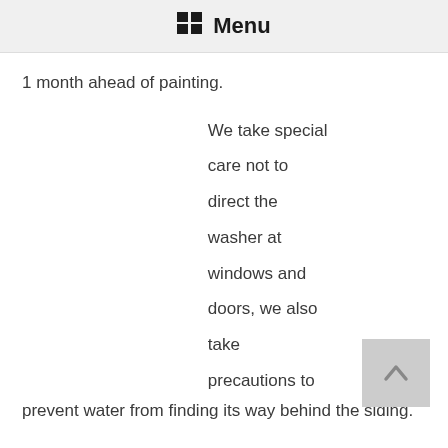Menu
1 month ahead of painting.
We take special care not to direct the washer at windows and doors, we also take precautions to prevent water from finding its way behind the siding.